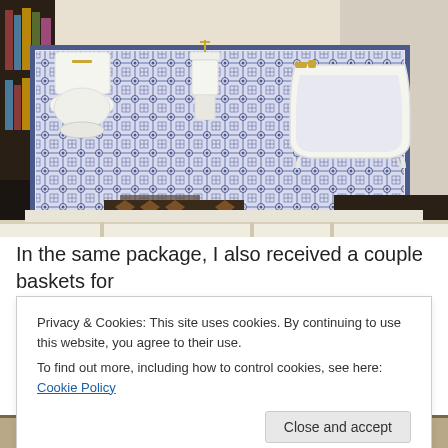[Figure (photo): A miniature dollhouse bathroom scene viewed from slightly above. The floor has blue and white patterned tile. There is a white pedestal toilet on the left, a white clawfoot bathtub on the right with gold faucets, and what appears to be a pedestal sink in the back center. Below the bathroom floor platform are visible shelving compartments containing other dollhouse items. Bookshelves are visible in the background on the left.]
In the same package, I also received a couple baskets for the linen closet.
Privacy & Cookies: This site uses cookies. By continuing to use this website, you agree to their use.
To find out more, including how to control cookies, see here: Cookie Policy
[Figure (photo): Partial view of another dollhouse scene at the bottom of the page, showing what appears to be items with a floral or patterned surface.]